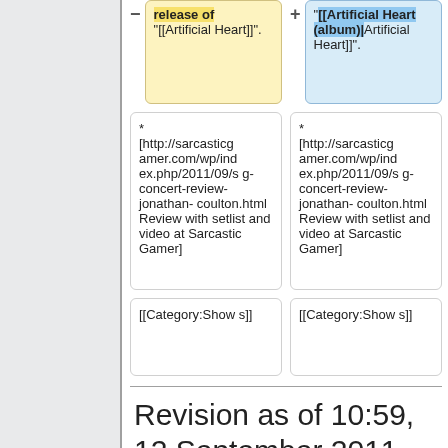release of "[[Artificial Heart]]".
"[[Artificial Heart (album)|Artificial Heart]]".
* [http://sarcasticgamer.com/wp/index.php/2011/09/sg-concert-review-jonathan-coulton.html Review with setlist and video at Sarcastic Gamer]
* [http://sarcasticgamer.com/wp/index.php/2011/09/sg-concert-review-jonathan-coulton.html Review with setlist and video at Sarcastic Gamer]
[[Category:Shows]]
[[Category:Shows]]
Revision as of 10:59, 12 September 2011